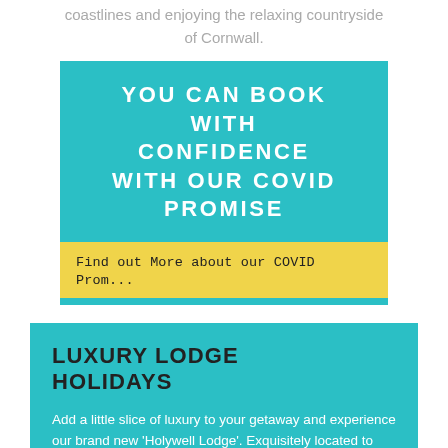home whilst exploring the dramatic coastlines and enjoying the relaxing countryside of Cornwall.
[Figure (infographic): Teal box with white bold uppercase text 'YOU CAN BOOK WITH CONFIDENCE WITH OUR COVID PROMISE' and a yellow bar below reading 'Find out More about our COVID Prom...']
LUXURY LODGE HOLIDAYS
Add a little slice of luxury to your getaway and experience our brand new 'Holywell Lodge'. Exquisitely located to provide the